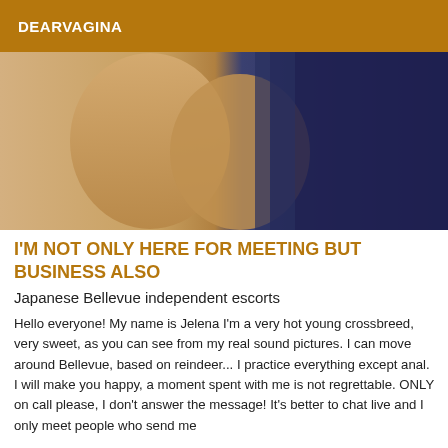DEARVAGINA
[Figure (photo): Close-up photo of a person's legs and dark blue fabric, suggestive escort listing image]
I'M NOT ONLY HERE FOR MEETING BUT BUSINESS ALSO
Japanese Bellevue independent escorts
Hello everyone! My name is Jelena I'm a very hot young crossbreed, very sweet, as you can see from my real sound pictures. I can move around Bellevue, based on reindeer... I practice everything except anal. I will make you happy, a moment spent with me is not regrettable. ONLY on call please, I don't answer the message! It's better to chat live and I only meet people who send me